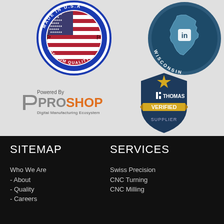[Figure (logo): Made in USA Premium Quality circular badge with American flag in center, blue border, stars, text 'MADE IN USA' at top and 'PREMIUM QUALITY' at bottom]
[Figure (logo): Made in Wisconsin circular badge, dark teal color, Wisconsin state outline with 'in' text, 'WISCONSIN' text at bottom]
[Figure (logo): ProShop logo - 'Powered By' text above, 'ProShop' in mixed grey and orange, 'Digital Manufacturing Ecosystem' subtitle]
[Figure (logo): Thomas Verified Supplier shield badge - dark navy shield with gold banner, star at top, 'ii THOMAS' text, 'VERIFIED' in gold banner, 'SUPPLIER' below]
SITEMAP
SERVICES
Who We Are
- About
- Quality
- Careers
Swiss Precision
CNC Turning
CNC Milling